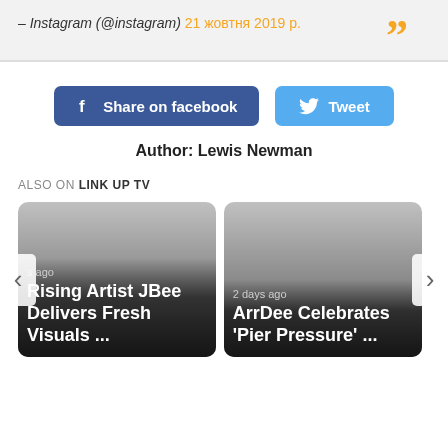– Instagram (@instagram) 21 жовтня 2019 р.
[Figure (infographic): Orange quotation mark icon in bottom-right of quote block]
[Figure (infographic): Facebook Share on facebook button (dark blue rounded) and Twitter Tweet button (light blue rounded)]
Author: Lewis Newman
ALSO ON LINK UP TV
[Figure (infographic): Card: Rising Artist JBee Delivers Fresh Visuals ... (s ago)]
[Figure (infographic): Card: ArrDee Celebrates 'Pier Pressure' ... (2 days ago)]